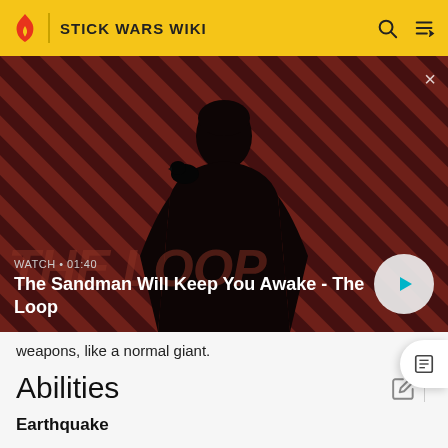STICK WARS WIKI
[Figure (screenshot): Video thumbnail showing a dark-cloaked figure with a raven on shoulder against a red and dark diagonal striped background. Title reads 'The Sandman Will Keep You Awake - The Loop'. Duration shown as 01:40.]
WATCH • 01:40
The Sandman Will Keep You Awake - The Loop
weapons, like a normal giant.
Abilities
Earthquake